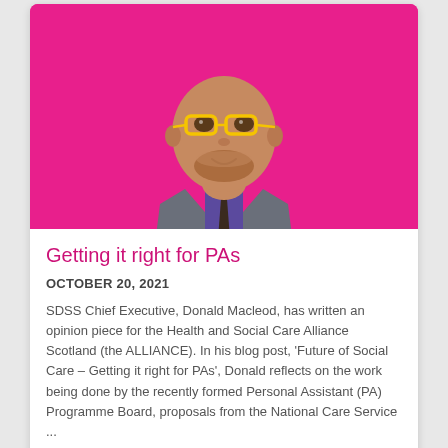[Figure (photo): Headshot of a bald middle-aged man with yellow-framed glasses, a grey suit, purple shirt and dark tie, photographed against a bright pink/magenta background.]
Getting it right for PAs
OCTOBER 20, 2021
SDSS Chief Executive, Donald Macleod, has written an opinion piece for the Health and Social Care Alliance Scotland (the ALLIANCE). In his blog post, 'Future of Social Care – Getting it right for PAs', Donald reflects on the work being done by the recently formed Personal Assistant (PA) Programme Board, proposals from the National Care Service ...